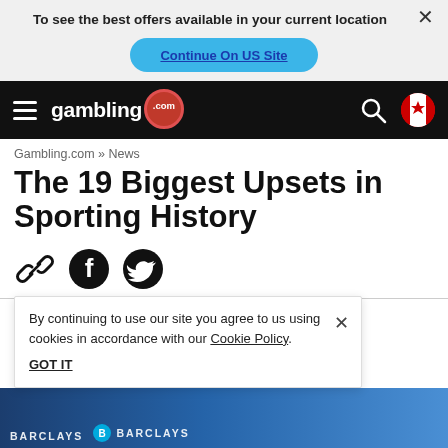To see the best offers available in your current location
Continue On US Site
[Figure (screenshot): Gambling.com website navigation bar with hamburger menu, logo, search icon, and Canadian flag]
Gambling.com » News
The 19 Biggest Upsets in Sporting History
[Figure (infographic): Social share icons: link, Facebook, Twitter]
By continuing to use our site you agree to us using cookies in accordance with our Cookie Policy.
GOT IT
[Figure (photo): Barclays Premier League banner image at bottom of page]